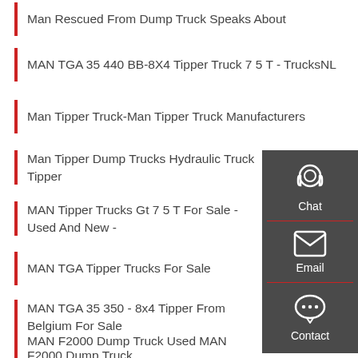Man Rescued From Dump Truck Speaks About
MAN TGA 35 440 BB-8X4 Tipper Truck 7 5 T - TrucksNL
Man Tipper Truck-Man Tipper Truck Manufacturers
Man Tipper Dump Trucks Hydraulic Truck Tipper
MAN Tipper Trucks Gt 7 5 T For Sale - Used And New -
MAN TGA Tipper Trucks For Sale
MAN TGA 35 350 - 8x4 Tipper From Belgium For Sale
MAN F2000 Dump Truck Used MAN F2000 Dump Truck
MAN Tractor Units From Romania For Sale At Truck1
[Figure (infographic): A dark grey sidebar widget with three icons and labels: a headset/chat icon labeled 'Chat', an envelope icon labeled 'Email', and a speech bubble icon labeled 'Contact'. Red horizontal dividers separate the sections.]